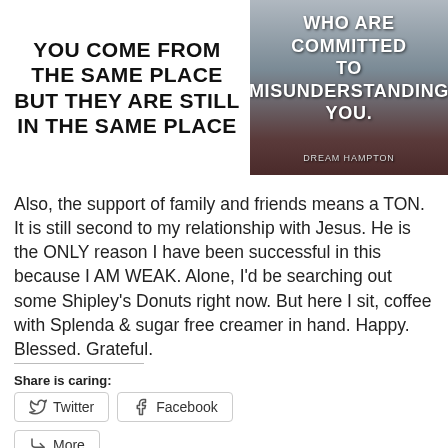[Figure (illustration): Bold uppercase text on white background reading: YOU COME FROM THE SAME PLACE BUT THEY ARE STILL IN THE SAME PLACE]
[Figure (photo): Scenic dark landscape photo with bold white uppercase text overlay reading: WHO ARE COMMITTED TO MISUNDERSTANDING YOU. Author: DREAM HAMPTON]
Also, the support of family and friends means a TON. It is still second to my relationship with Jesus. He is the ONLY reason I have been successful in this because I AM WEAK. Alone, I'd be searching out some Shipley's Donuts right now. But here I sit, coffee with Splenda & sugar free creamer in hand. Happy. Blessed. Grateful.
Share is caring:
Twitter
Facebook